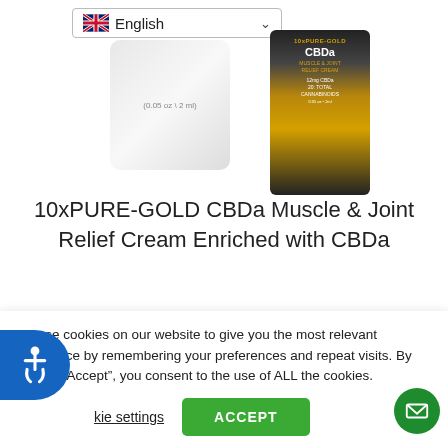[Figure (screenshot): Language selector dropdown showing UK flag and 'English' with dropdown arrow, and product images of 10xPURE-GOLD CBDa Muscle & Joint Relief Cream in the background]
10xPURE-GOLD CBDa Muscle & Joint Relief Cream Enriched with CBDa
$44.97
$29.97
SHOP NOW
We use cookies on our website to give you the most relevant experience by remembering your preferences and repeat visits. By clicking “Accept”, you consent to the use of ALL the cookies.
Cookie settings
ACCEPT